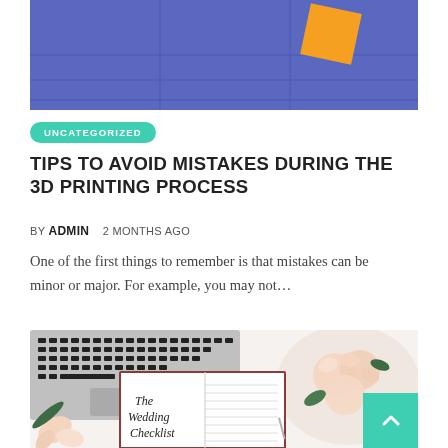[Figure (photo): Photo of a 3D printing scene with blue background and orange geometric shape]
UNCATEGORIZED
TIPS TO AVOID MISTAKES DURING THE 3D PRINTING PROCESS
BY ADMIN   2 MONTHS AGO
One of the first things to remember is that mistakes can be minor or major. For example, you may not…
[Figure (photo): Flat lay photo with laptop keyboard, roses in a bowl, and a wedding checklist notebook on white background]